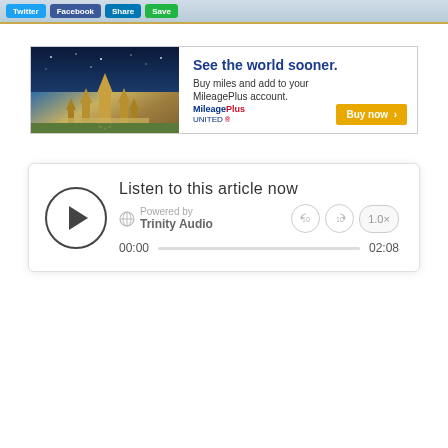[Figure (screenshot): Top navigation bar with social share buttons: Twitter (blue), Facebook (dark blue), LinkedIn (light blue), and a green button]
[Figure (screenshot): MileagePlus United Airlines advertisement banner. Shows temple image on left with text 'See the world sooner. Buy miles and add to your MileagePlus account.' and a 'Buy now >' button on the right.]
[Figure (screenshot): Trinity Audio article player widget. Shows play button on left, title 'Listen to this article now', powered by Trinity Audio, playback controls (rewind 10, forward 10, 1.0x speed), and progress bar from 00:00 to 02:08.]